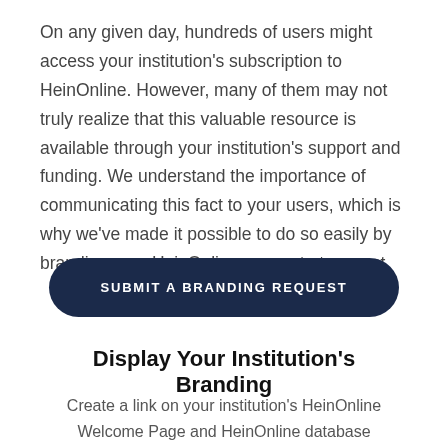On any given day, hundreds of users might access your institution's subscription to HeinOnline. However, many of them may not truly realize that this valuable resource is available through your institution's support and funding. We understand the importance of communicating this fact to your users, which is why we've made it possible to do so easily by branding your HeinOnline account at no cost.
[Figure (other): Dark navy rounded button with text 'SUBMIT A BRANDING REQUEST' in white uppercase letters]
Display Your Institution's Branding
Create a link on your institution's HeinOnline Welcome Page and HeinOnline database pages that displays your